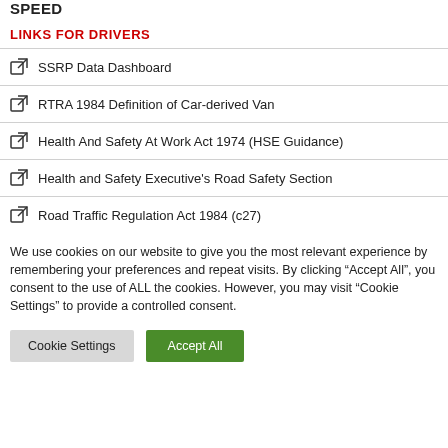SPEED
LINKS FOR DRIVERS
SSRP Data Dashboard
RTRA 1984 Definition of Car-derived Van
Health And Safety At Work Act 1974 (HSE Guidance)
Health and Safety Executive's Road Safety Section
Road Traffic Regulation Act 1984 (c27)
We use cookies on our website to give you the most relevant experience by remembering your preferences and repeat visits. By clicking "Accept All", you consent to the use of ALL the cookies. However, you may visit "Cookie Settings" to provide a controlled consent.
Cookie Settings | Accept All